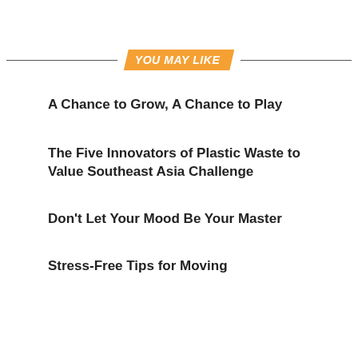YOU MAY LIKE
A Chance to Grow, A Chance to Play
The Five Innovators of Plastic Waste to Value Southeast Asia Challenge
Don't Let Your Mood Be Your Master
Stress-Free Tips for Moving